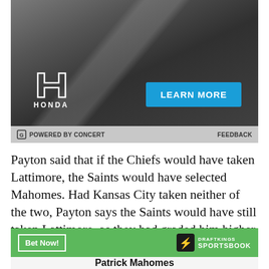[Figure (photo): Honda advertisement banner with dark grey background showing a car diagonal line and Honda H logo with 'HONDA' text on the left, and a blue 'LEARN MORE' button on the right]
POWERED BY CONCERT    FEEDBACK
Payton said that if the Chiefs would have taken Lattimore, the Saints would have selected Mahomes. Had Kansas City taken neither of the two, Payton says the Saints would have still taken Lattimore, as they had graded him higher than Mahomes.
Payton also said that he doesn't know if he sees a quarterback like Mahomes, Carson Wentz or Andrew Luck in the 2018 draft class.
[Figure (logo): DraftKings Sportsbook green banner with 'Bet Now!' button on the left and DraftKings Sportsbook logo on the right]
Patrick Mahomes